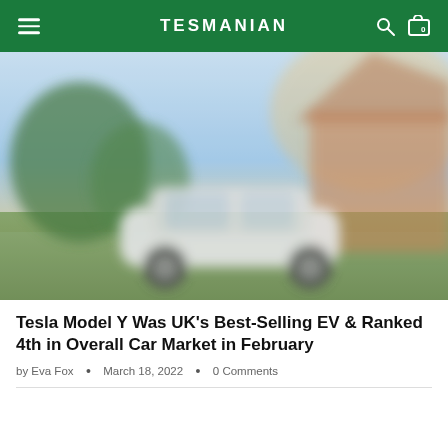TESMANIAN
[Figure (photo): Blurred outdoor scene with a white Tesla Model Y parked in front of a house with trees and warm sunlight in the background.]
Tesla Model Y Was UK's Best-Selling EV & Ranked 4th in Overall Car Market in February
by Eva Fox • March 18, 2022 • 0 Comments